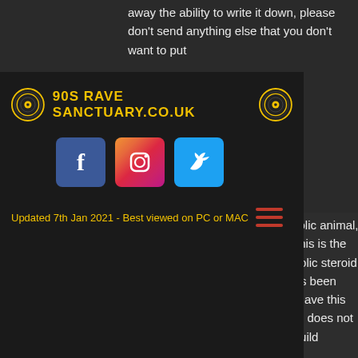away the ability to write it down, please don't send anything else that you don't want to put
sale.
[Figure (logo): 90s Rave Sanctuary website navigation overlay with logo, social media icons (Facebook, Instagram, Twitter), update date text, and hamburger menu]
the
ition of
tood
168.
s
are capable of having "a physiologic effect on an anabolic animal, with or without the appearance of anabolic steroids". This is the definition now used by Congress on the steroids, anabolic steroid definition in. Although this is the current definition, it has been known since the 1920s that some steroids are able to have this physiologic effect. This new Steroid Control Act of 2016 does not change this classification either, can i use steroids to build muscle. Therefore